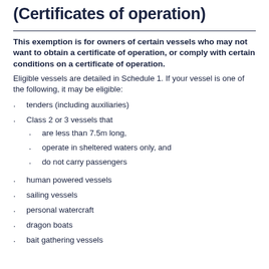(Certificates of operation)
This exemption is for owners of certain vessels who may not want to obtain a certificate of operation, or comply with certain conditions on a certificate of operation.
Eligible vessels are detailed in Schedule 1. If your vessel is one of the following, it may be eligible:
tenders (including auxiliaries)
Class 2 or 3 vessels that
are less than 7.5m long,
operate in sheltered waters only, and
do not carry passengers
human powered vessels
sailing vessels
personal watercraft
dragon boats
bait gathering vessels